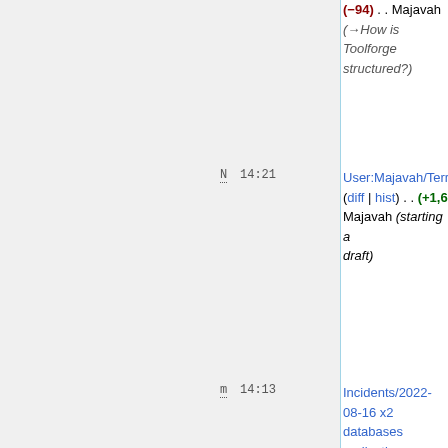(−94) . . Majavah (→How is Toolforge structured?)
N 14:21 User:Majavah/Term (diff | hist) . . (+1,6 Majavah (starting a draft)
m 14:13 Incidents/2022-08-16 x2 databases replication breakage (diff | hist) . . (+10) . . Jcrespo (section)
14:06 Help:Toolforge/We (diff | hist) . . (+307 . . Valerio Bozzola (first section: put